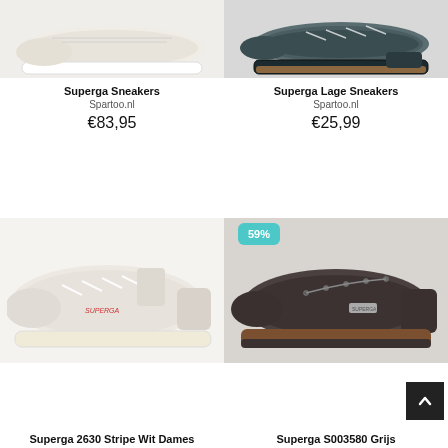[Figure (photo): White platform Superga sneaker, top-down/side view, cream sole, light background]
Superga Sneakers
Spartoo.nl
€83,95
[Figure (photo): Dark teal/navy Superga low sneaker, side view, brown sole, grey background]
Superga Lage Sneakers
Spartoo.nl
€25,99
[Figure (photo): White/cream Superga 2630 Stripe low sneaker with white laces and cream sole]
Superga 2630 Stripe Wit Dames
[Figure (photo): Dark grey/charcoal Superga S003580 low sneaker, suede-like, brown sole, 59% discount badge]
Superga S003580 Grijs